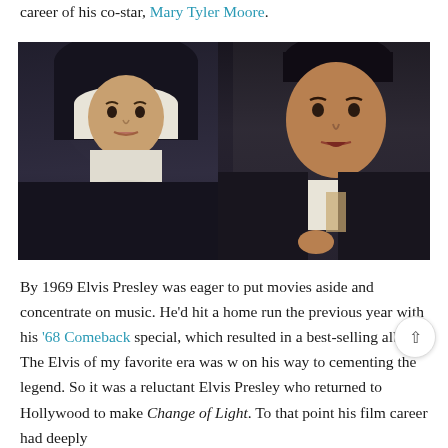career of his co-star, Mary Tyler Moore.
[Figure (photo): A woman dressed as a nun in black habit and white wimple/coif, alongside a dark-haired man in a dark suit and white shirt. Movie still photo, likely from the film 'Change of Habit'.]
By 1969 Elvis Presley was eager to put movies aside and concentrate on music. He'd hit a home run the previous year with his '68 Comeback special, which resulted in a best-selling album. The Elvis of my favorite era was w on his way to cementing the legend. So it was a reluctant Elvis Presley who returned to Hollywood to make Change of Light. To that point his film career had deeply